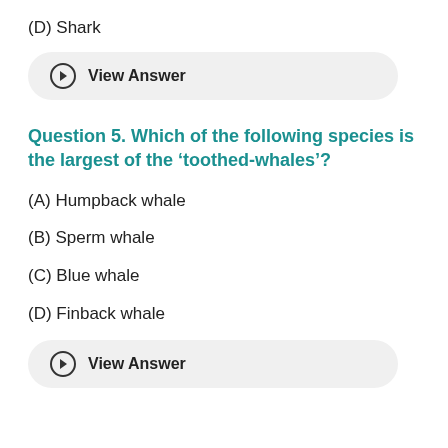(D) Shark
View Answer
Question 5. Which of the following species is the largest of the ‘toothed-whales’?
(A) Humpback whale
(B) Sperm whale
(C) Blue whale
(D) Finback whale
View Answer